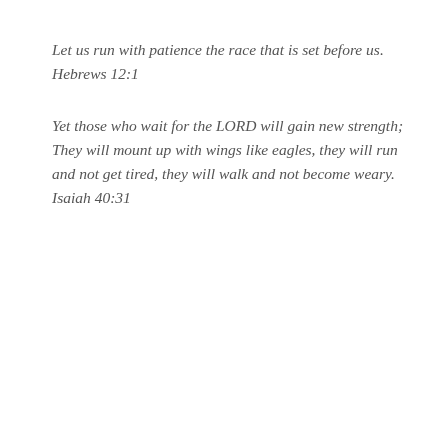Let us run with patience the race that is set before us. Hebrews 12:1
Yet those who wait for the LORD will gain new strength; They will mount up with wings like eagles, they will run and not get tired, they will walk and not become weary. Isaiah 40:31